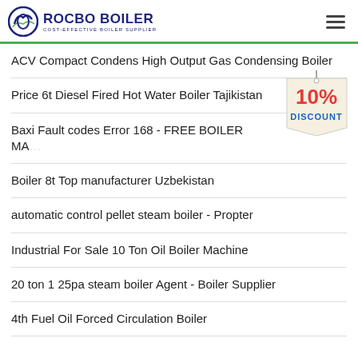ROCBO BOILER - COST-EFFECTIVE BOILER SUPPLIER
ACV Compact Condens High Output Gas Condensing Boiler
Price 6t Diesel Fired Hot Water Boiler Tajikistan
Baxi Fault codes Error 168 - FREE BOILER MA...
Boiler 8t Top manufacturer Uzbekistan
automatic control pellet steam boiler - Propter
Industrial For Sale 10 Ton Oil Boiler Machine
20 ton 1 25pa steam boiler Agent - Boiler Supplier
4th Fuel Oil Forced Circulation Boiler